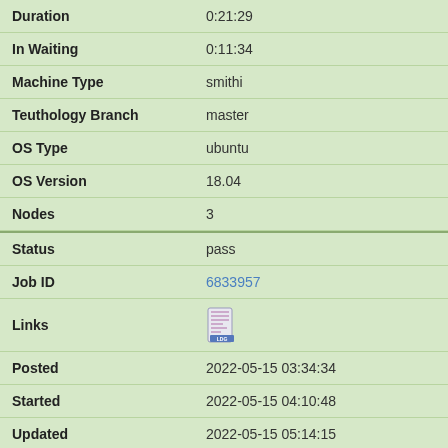| Duration | 0:21:29 |
| In Waiting | 0:11:34 |
| Machine Type | smithi |
| Teuthology Branch | master |
| OS Type | ubuntu |
| OS Version | 18.04 |
| Nodes | 3 |
| Status | pass |
| Job ID | 6833957 |
| Links | [LDG icon] |
| Posted | 2022-05-15 03:34:34 |
| Started | 2022-05-15 04:10:48 |
| Updated | 2022-05-15 05:14:15 |
| Runtime | 1:03:27 |
| Duration | 0:57:10 |